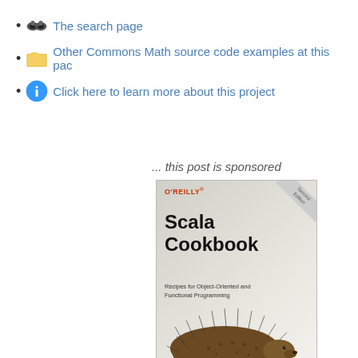The search page
Other Commons Math source code examples at this pack
Click here to learn more about this project
... this post is sponsored
[Figure (photo): O'Reilly Scala Cookbook book cover — Second Edition. Recipes for Object-Oriented and Functional Programming. By Alvin Alexander. Features an echidna/hedgehog illustration.]
#1 New Release!